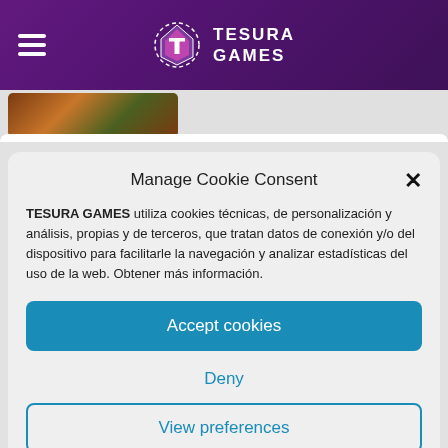TESURA GAMES
[Figure (screenshot): Partial game artwork image visible at top]
Manage Cookie Consent
TESURA GAMES utiliza cookies técnicas, de personalización y análisis, propias y de terceros, que tratan datos de conexión y/o del dispositivo para facilitarle la navegación y analizar estadísticas del uso de la web. Obtener más información.
Accept cookies
Deny
View preferences
Cookies Policy  Privacy policy